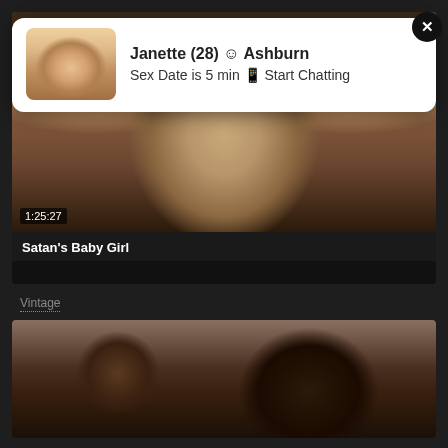[Figure (screenshot): Ad overlay popup with thumbnail image, showing name Janette (28) and location Ashburn with text Sex Date is 5 min, Start Chatting. Has close X button.]
Janette (28) ☺ Ashburn
Sex Date is 5 min 📱 Start Chatting
[Figure (screenshot): Video thumbnail showing close-up of blonde woman's face, with timestamp 1:25:27]
1:25:27
Satan's Baby Girl
Vintage
[Figure (screenshot): Second video thumbnail showing dark indoor scene]